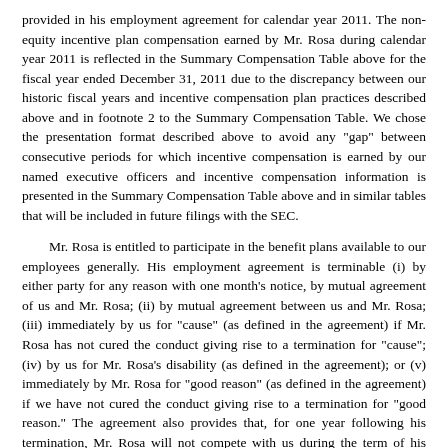provided in his employment agreement for calendar year 2011. The non-equity incentive plan compensation earned by Mr. Rosa during calendar year 2011 is reflected in the Summary Compensation Table above for the fiscal year ended December 31, 2011 due to the discrepancy between our historic fiscal years and incentive compensation plan practices described above and in footnote 2 to the Summary Compensation Table. We chose the presentation format described above to avoid any "gap" between consecutive periods for which incentive compensation is earned by our named executive officers and incentive compensation information is presented in the Summary Compensation Table above and in similar tables that will be included in future filings with the SEC.
Mr. Rosa is entitled to participate in the benefit plans available to our employees generally. His employment agreement is terminable (i) by either party for any reason with one month's notice, by mutual agreement of us and Mr. Rosa; (ii) by mutual agreement between us and Mr. Rosa; (iii) immediately by us for "cause" (as defined in the agreement) if Mr. Rosa has not cured the conduct giving rise to a termination for "cause"; (iv) by us for Mr. Rosa's disability (as defined in the agreement); or (v) immediately by Mr. Rosa for "good reason" (as defined in the agreement) if we have not cured the conduct giving rise to a termination for "good reason." The agreement also provides that, for one year following his termination, Mr. Rosa will not compete with us during the term of his employment with us and he will not solicit any person who was one of our employees during the term of his employment.
Our board of directors has granted Mr. Rosa stock options as part of his